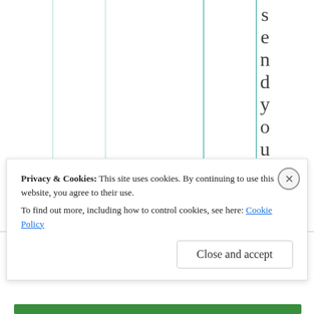[Figure (other): Partial view of a table with vertical column lines in light green/teal, with rotated text spelling 's e n d y o u a p a s' vertically on the right side.]
Privacy & Cookies: This site uses cookies. By continuing to use this website, you agree to their use.
To find out more, including how to control cookies, see here: Cookie Policy